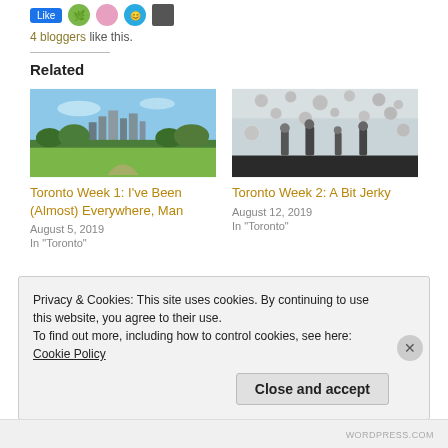4 bloggers like this.
Related
[Figure (photo): Photo of Toronto skyline with park and baseball diamond in foreground, blue sky above.]
Toronto Week 1: I've Been (Almost) Everywhere, Man
August 5, 2019
In "Toronto"
[Figure (photo): Photo of people inside a mirrored art installation with hanging reflective spheres.]
Toronto Week 2: A Bit Jerky
August 12, 2019
In "Toronto"
Privacy & Cookies: This site uses cookies. By continuing to use this website, you agree to their use.
To find out more, including how to control cookies, see here: Cookie Policy
Close and accept